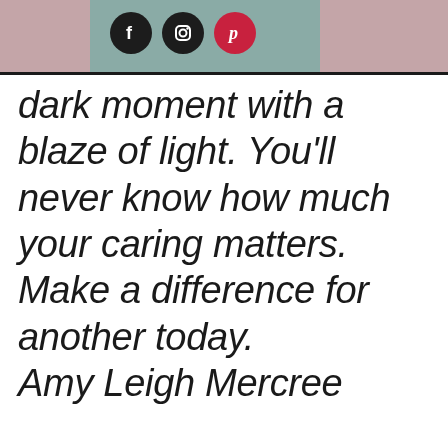[Figure (illustration): Header bar with dusty rose/mauve background on sides, teal/muted green center rectangle, containing three social media icon circles: Facebook (dark), Instagram (dark), Pinterest (red)]
dark moment with a blaze of light. You'll never know how much your caring matters. Make a difference for another today.
Amy Leigh Mercree